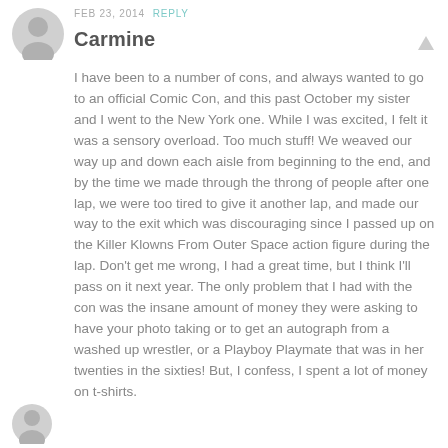[Figure (illustration): Gray circular avatar/user icon with silhouette of a person, top-left of comment]
FEB 23, 2014  REPLY
Carmine
I have been to a number of cons, and always wanted to go to an official Comic Con, and this past October my sister and I went to the New York one. While I was excited, I felt it was a sensory overload. Too much stuff! We weaved our way up and down each aisle from beginning to the end, and by the time we made through the throng of people after one lap, we were too tired to give it another lap, and made our way to the exit which was discouraging since I passed up on the Killer Klowns From Outer Space action figure during the lap. Don't get me wrong, I had a great time, but I think I'll pass on it next year. The only problem that I had with the con was the insane amount of money they were asking to have your photo taking or to get an autograph from a washed up wrestler, or a Playboy Playmate that was in her twenties in the sixties! But, I confess, I spent a lot of money on t-shirts.